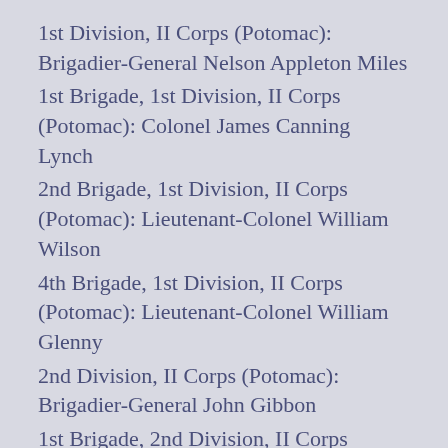1st Division, II Corps (Potomac): Brigadier-General Nelson Appleton Miles
1st Brigade, 1st Division, II Corps (Potomac): Colonel James Canning Lynch
2nd Brigade, 1st Division, II Corps (Potomac): Lieutenant-Colonel William Wilson
4th Brigade, 1st Division, II Corps (Potomac): Lieutenant-Colonel William Glenny
2nd Division, II Corps (Potomac): Brigadier-General John Gibbon
1st Brigade, 2nd Division, II Corps (Potomac): Colonel H P Rugg
2nd Brigade, 2nd Division, II Corps (Potomac): Colonel M Murphy